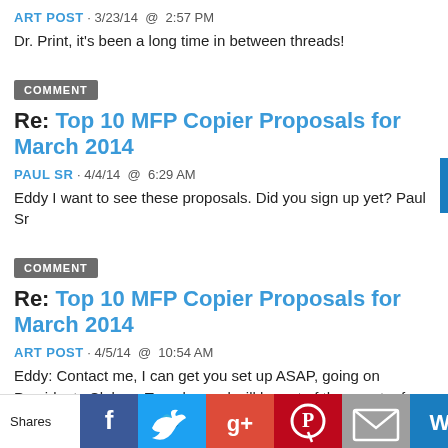ART POST · 3/23/14 @ 2:57 PM
Dr. Print, it's been a long time in between threads!
COMMENT
Re: Top 10 MFP Copier Proposals for March 2014
PAUL SR · 4/4/14 @ 6:29 AM
Eddy I want to see these proposals. Did you sign up yet? Paul Sr
COMMENT
Re: Top 10 MFP Copier Proposals for March 2014
ART POST · 4/5/14 @ 10:54 AM
Eddy: Contact me, I can get you set up ASAP, going on Presidents Club on Tuesday and will be out of the country for a week. Art
COMMENT
Re: Top 10 MFP Copier Proposals for March 2014
JACK CARROLL · 4/6/14 @ 11:56 PM
Shares